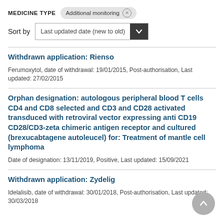MEDICINE TYPE  Additional monitoring ⊗
Sort by  Last updated date (new to old)
Withdrawn application: Rienso
Ferumoxytol, date of withdrawal: 19/01/2015, Post-authorisation, Last updated: 27/02/2015
Orphan designation: autologous peripheral blood T cells CD4 and CD8 selected and CD3 and CD28 activated transduced with retroviral vector expressing anti CD19 CD28/CD3-zeta chimeric antigen receptor and cultured (brexucabtagene autoleucel) for: Treatment of mantle cell lymphoma
Date of designation: 13/11/2019, Positive, Last updated: 15/09/2021
Withdrawn application: Zydelig
Idelalisib, date of withdrawal: 30/01/2018, Post-authorisation, Last updated: 30/03/2018